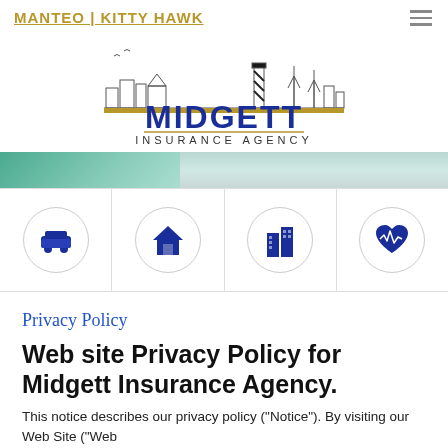MANTEO | KITTY HAWK
[Figure (logo): Midgett Insurance Agency logo with skyline/lighthouse illustration above blue text 'MIDGETT INSURANCE AGENCY']
[Figure (photo): Hero banner with people outdoors, partial view]
[Figure (infographic): Four icon circles in a row: car (auto insurance), house (home insurance), buildings (commercial insurance), heart with pulse (health insurance)]
Privacy Policy
Web site Privacy Policy for Midgett Insurance Agency.
This notice describes our privacy policy ("Notice"). By visiting our Web Site ("Web